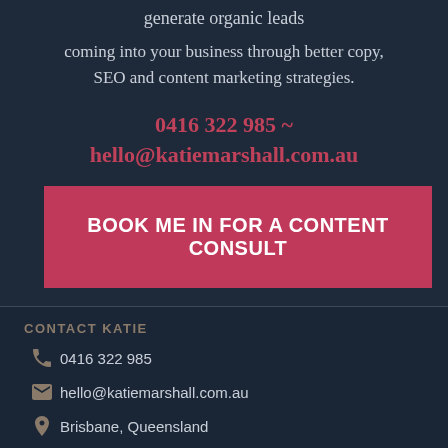generate organic leads
coming into your business through better copy, SEO and content marketing strategies.
0416 322 985 ~
hello@katiemarshall.com.au
BOOK ME IN FOR A CONTENT CONSULT
CONTACT KATIE
0416 322 985
hello@katiemarshall.com.au
Brisbane, Queensland